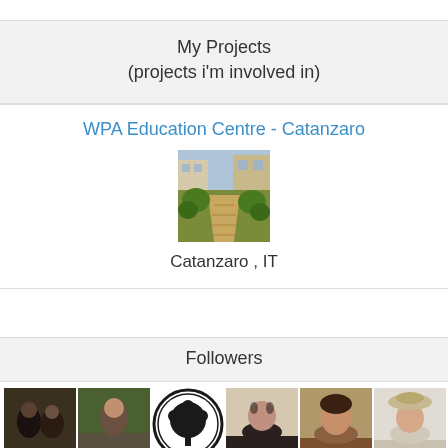My Projects
(projects i'm involved in)
WPA Education Centre - Catanzaro
[Figure (photo): Outdoor garden/farm scene with vegetation and dry hay on a path, buildings visible in background]
Catanzaro , IT
Followers
[Figure (photo): Row of 6 follower profile avatar thumbnails]
Following
[Figure (photo): Row of multiple following profile avatar thumbnails, partially visible at bottom of page]